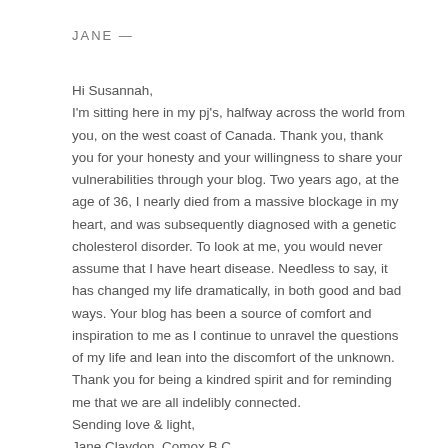JANE —
Hi Susannah,
I'm sitting here in my pj's, halfway across the world from you, on the west coast of Canada. Thank you, thank you for your honesty and your willingness to share your vulnerabilities through your blog. Two years ago, at the age of 36, I nearly died from a massive blockage in my heart, and was subsequently diagnosed with a genetic cholesterol disorder. To look at me, you would never assume that I have heart disease. Needless to say, it has changed my life dramatically, in both good and bad ways. Your blog has been a source of comfort and inspiration to me as I continue to unravel the questions of my life and lean into the discomfort of the unknown. Thank you for being a kindred spirit and for reminding me that we are all indelibly connected.
Sending love & light,
Jane Claydon, Comox B.C.